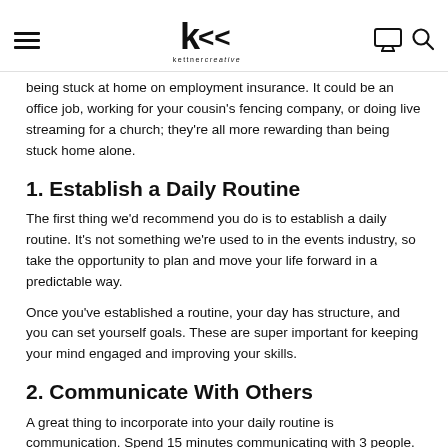kettner creative (logo with hamburger menu, monitor icon, and search icon)
being stuck at home on employment insurance. It could be an office job, working for your cousin's fencing company, or doing live streaming for a church; they're all more rewarding than being stuck home alone.
1. Establish a Daily Routine
The first thing we'd recommend you do is to establish a daily routine. It's not something we're used to in the events industry, so take the opportunity to plan and move your life forward in a predictable way.
Once you've established a routine, your day has structure, and you can set yourself goals. These are super important for keeping your mind engaged and improving your skills.
2. Communicate With Others
A great thing to incorporate into your daily routine is communication. Spend 15 minutes communicating with 3 people.